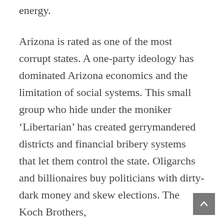energy.
Arizona is rated as one of the most corrupt states. A one-party ideology has dominated Arizona economics and the limitation of social systems. This small group who hide under the moniker ‘Libertarian’ has created gerrymandered districts and financial bribery systems that let them control the state. Oligarchs and billionaires buy politicians with dirty-dark money and skew elections. The Koch Brothers, M...